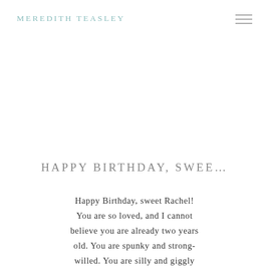MEREDITH TEASLEY
HAPPY BIRTHDAY, SWEE...
Happy Birthday, sweet Rachel! You are so loved, and I cannot believe you are already two years old. You are spunky and strong-willed. You are silly and giggly